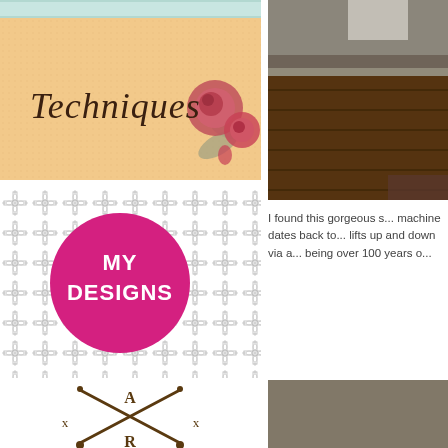[Figure (illustration): Decorative banner with mint dotted border at top, peach/tan textured background with 'Techniques' in cursive script and red roses illustration on the right]
[Figure (illustration): White tile/lace pattern background with a magenta circle in center containing 'MY DESIGNS' in bold white uppercase text]
[Figure (illustration): Brown crossed knitting needles with letter A at top, X marks on left and right, and R at bottom — forming a logo or emblem]
[Figure (photo): Dark interior photograph showing wooden floors and baseboard/wall corner]
I found this gorgeous s... machine dates back to... lifts up and down via a... being over 100 years o...
[Figure (photo): Partially visible photo with dark olive/brown tones at bottom right]